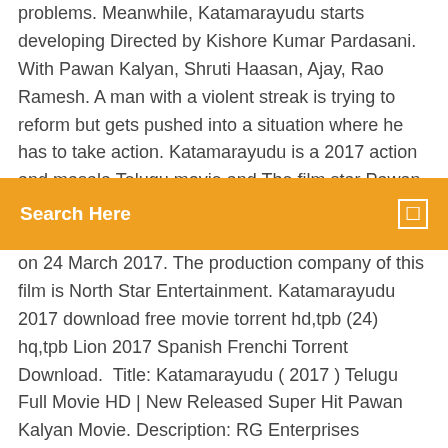problems. Meanwhile, Katamarayudu starts developing Directed by Kishore Kumar Pardasani. With Pawan Kalyan, Shruti Haasan, Ajay, Rao Ramesh. A man with a violent streak is trying to reform but gets pushed into a situation where he has to take action. Katamarayudu is a 2017 action and masala Telugu movie and The film star Pawan Kalyan and Shruti Haasan have
Search Here
on 24 March 2017. The production company of this film is North Star Entertainment. Katamarayudu 2017 download free movie torrent hd,tpb (24) hq,tpb Lion 2017 Spanish Frenchi Torrent Download. Title: Katamarayudu ( 2017 ) Telugu Full Movie HD | New Released Super Hit Pawan Kalyan Movie. Description: RG Enterprises Presents : Katamarayudu is a Telugu language action film directed by Kishore Kumar Pardasani which features Pawan Kalyan and Shruti Haasan in the lead roles. It is a remake of Tamil film Veeram and it was directed by Siva. Katamarayudu True HD Rip 240p. The Above files are taken